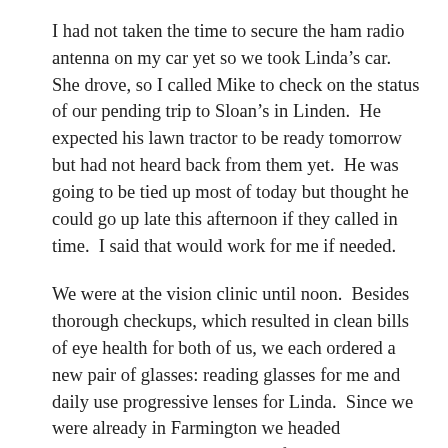I had not taken the time to secure the ham radio antenna on my car yet so we took Linda's car.  She drove, so I called Mike to check on the status of our pending trip to Sloan's in Linden.  He expected his lawn tractor to be ready tomorrow but had not heard back from them yet.  He was going to be tied up most of today but thought he could go up late this afternoon if they called in time.  I said that would work for me if needed.
We were at the vision clinic until noon.  Besides thorough checkups, which resulted in clean bills of eye health for both of us, we each ordered a new pair of glasses: reading glasses for me and daily use progressive lenses for Linda.  Since we were already in Farmington we headed downtown to Chive restaurant for lunch.  Linda had dinner there last night with Kathi Slater and wanted me to try it.  We ordered a Jalapeño Burger and a Reuben sandwich, both of which came with seasoned French fries, and split them.  I also had a root beer